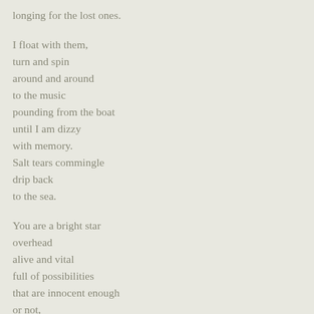longing for the lost ones.

I float with them,
turn and spin
around and around
to the music
pounding from the boat
until I am dizzy
with memory.
Salt tears commingle
drip back
to the sea.

You are a bright star
overhead
alive and vital
full of possibilities
that are innocent enough
or not,
I do not know yet.

Star